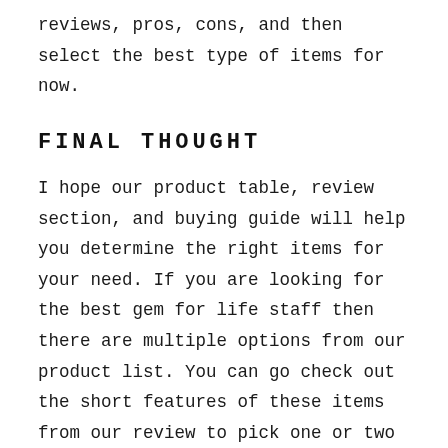reviews, pros, cons, and then select the best type of items for now.
FINAL THOUGHT
I hope our product table, review section, and buying guide will help you determine the right items for your need. If you are looking for the best gem for life staff then there are multiple options from our product list. You can go check out the short features of these items from our review to pick one or two to check for further reviews. Click these products and see the reviews of the customers, description of the products, and rating of it to make a final decision for buying it.